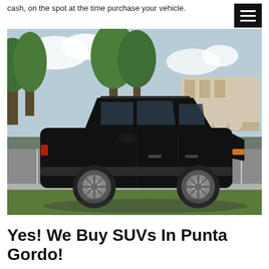cash, on the spot at the time purchase your vehicle.
[Figure (photo): Black Saturn Vue SUV parked in a parking lot with trees and a commercial building in the background, Florida setting.]
Yes! We Buy SUVs In Punta Gordo!